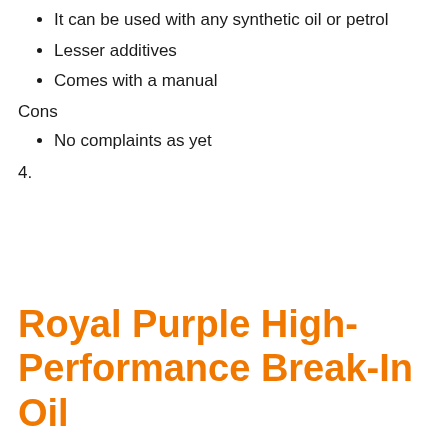It can be used with any synthetic oil or petrol
Lesser additives
Comes with a manual
Cons
No complaints as yet
4.
Royal Purple High-Performance Break-In Oil